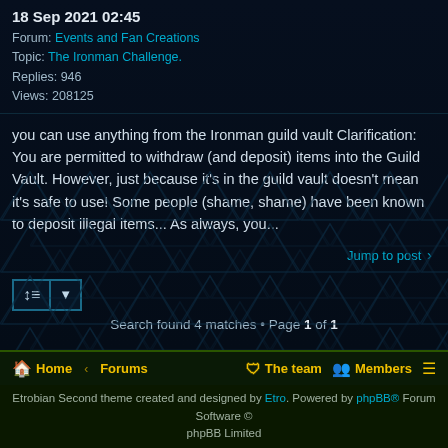18 Sep 2021 02:45
Forum: Events and Fan Creations
Topic: The Ironman Challenge.
Replies: 946
Views: 208125
you can use anything from the Ironman guild vault Clarification: You are permitted to withdraw (and deposit) items into the Guild Vault. However, just because it's in the guild vault doesn't mean it's safe to use! Some people (shame, shame) have been known to deposit illegal items... As always, you...
Jump to post ›
Search found 4 matches • Page 1 of 1
Home · Forums   The team   Members
Etrobian Second theme created and designed by Etro. Powered by phpBB® Forum Software © phpBB Limited